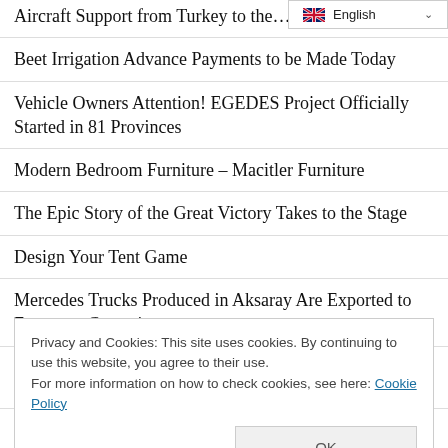Aircraft Support from Turkey to the…
[Figure (screenshot): Language selector dropdown showing English with UK flag icon and chevron]
Beet Irrigation Advance Payments to be Made Today
Vehicle Owners Attention! EGEDES Project Officially Started in 81 Provinces
Modern Bedroom Furniture – Macitler Furniture
The Epic Story of the Great Victory Takes to the Stage
Design Your Tent Game
Mercedes Trucks Produced in Aksaray Are Exported to European Countries
600-Year-Old Historical Bridge in Dilovası is Restored
Privacy and Cookies: This site uses cookies. By continuing to use this website, you agree to their use.
For more information on how to check cookies, see here: Cookie Policy
OK
EGO Announced! Public Transportation Free on August 30